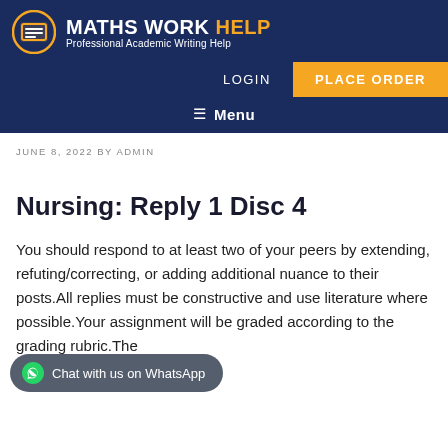MATHS WORK HELP — Professional Academic Writing Help | LOGIN | PLACE ORDER | Menu
JUNE 8, 2022 BY ADMIN
Nursing: Reply 1 Disc 4
You should respond to at least two of your peers by extending, refuting/correcting, or adding additional nuance to their posts.All replies must be constructive and use literature where possible.Your assignment will be graded according to the grading rubric.The